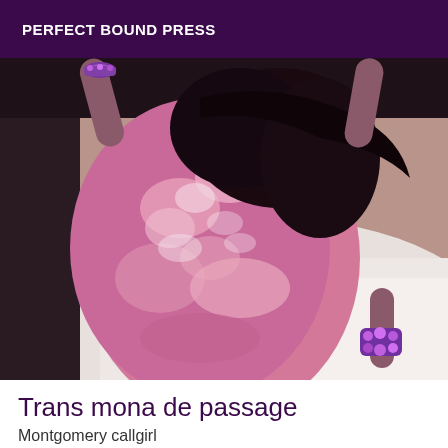PERFECT BOUND PRESS
[Figure (photo): Woman in a pink floral/sequined dress lying on white bedding, viewed from behind, with purple jeweled bracelets on her wrists and ankles, dark hair.]
Trans mona de passage
Montgomery callgirl